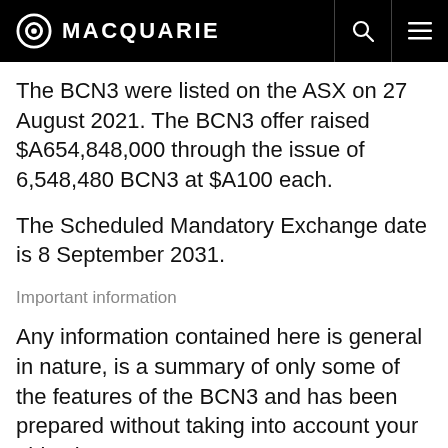MACQUARIE
The BCN3 were listed on the ASX on 27 August 2021. The BCN3 offer raised $A654,848,000 through the issue of 6,548,480 BCN3 at $A100 each.
The Scheduled Mandatory Exchange date is 8 September 2031.
Important information
Any information contained here is general in nature, is a summary of only some of the features of the BCN3 and has been prepared without taking into account your objectives,